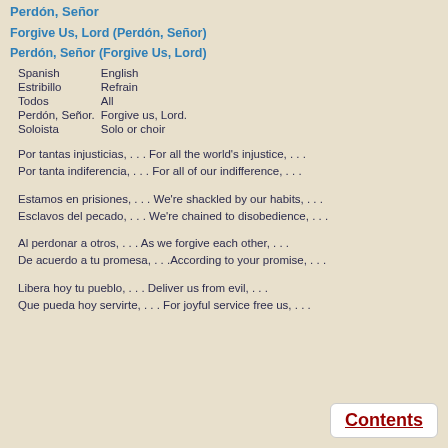Perdón, Señor
Forgive Us, Lord (Perdón, Señor)
Perdón, Señor (Forgive Us, Lord)
| Spanish | English |
| Estribillo | Refrain |
| Todos | All |
| Perdón, Señor. | Forgive us, Lord. |
| Soloista | Solo or choir |
Por tantas injusticias, . . . For all the world's injustice, . . .
Por tanta indiferencia, . . . For all of our indifference, . . .
Estamos en prisiones, . . . We're shackled by our habits, . . .
Esclavos del pecado, . . . We're chained to disobedience, . . .
Al perdonar a otros, . . . As we forgive each other, . . .
De acuerdo a tu promesa, . . .According to your promise, . . .
Libera hoy tu pueblo, . . . Deliver us from evil, . . .
Que pueda hoy servirte, . . . For joyful service free us, . . .